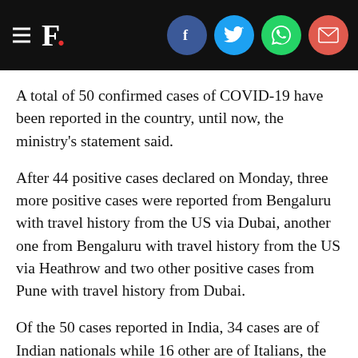F. [social media navigation header]
A total of 50 confirmed cases of COVID-19 have been reported in the country, until now, the ministry's statement said.
After 44 positive cases declared on Monday, three more positive cases were reported from Bengaluru with travel history from the US via Dubai, another one from Bengaluru with travel history from the US via Heathrow and two other positive cases from Pune with travel history from Dubai.
Of the 50 cases reported in India, 34 cases are of Indian nationals while 16 other are of Italians, the Union Health Ministry statement said.